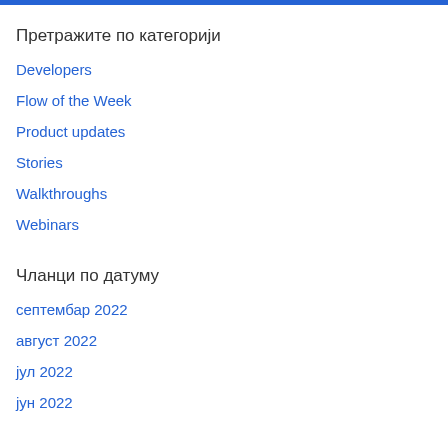Претражите по категорији
Developers
Flow of the Week
Product updates
Stories
Walkthroughs
Webinars
Чланци по датуму
септембар 2022
август 2022
јул 2022
јун 2022